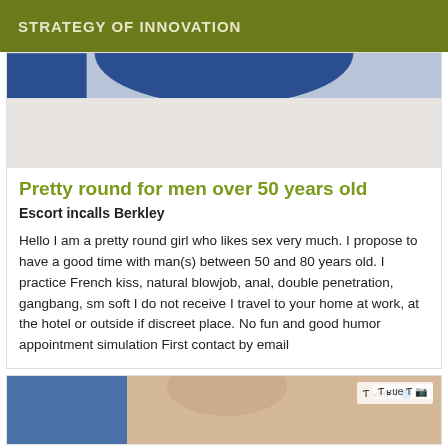STRATEGY OF INNOVATION
[Figure (photo): Top portion of a photo showing a blue garment or fabric against a light background]
Pretty round for men over 50 years old
Escort incalls Berkley
Hello I am a pretty round girl who likes sex very much. I propose to have a good time with man(s) between 50 and 80 years old. I practice French kiss, natural blowjob, anal, double penetration, gangbang, sm soft I do not receive I travel to your home at work, at the hotel or outside if discreet place. No fun and good humor appointment simulation First contact by email
[Figure (photo): Bottom partial photo showing a person with light hair, blue and pink clothing, with a watermark overlay in top right]